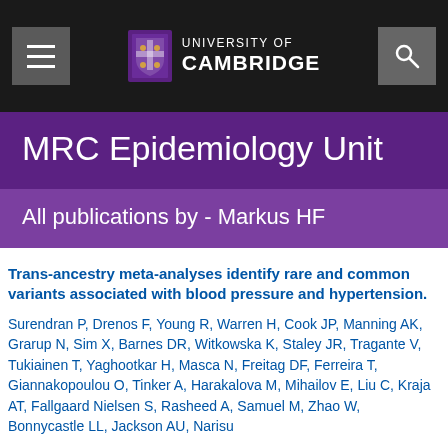University of Cambridge — MRC Epidemiology Unit
MRC Epidemiology Unit
All publications by - Markus HF
Trans-ancestry meta-analyses identify rare and common variants associated with blood pressure and hypertension.
Surendran P, Drenos F, Young R, Warren H, Cook JP, Manning AK, Grarup N, Sim X, Barnes DR, Witkowska K, Staley JR, Tragante V, Tukiainen T, Yaghootkar H, Masca N, Freitag DF, Ferreira T, Giannakopoulou O, Tinker A, Harakalova M, Mihailov E, Liu C, Kraja AT, Fallgaard Nielsen S, Rasheed A, Samuel M, Zhao W, Bonnycastle LL, Jackson AU, Narisu